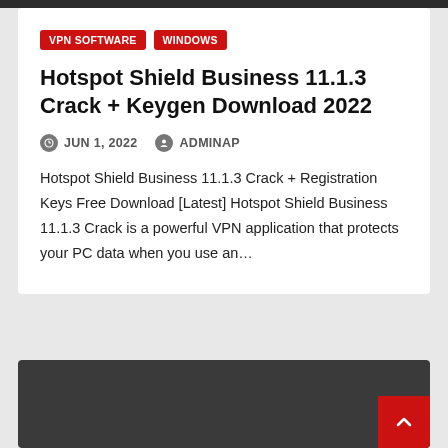VPN SOFTWARE
WINDOWS
Hotspot Shield Business 11.1.3 Crack + Keygen Download 2022
JUN 1, 2022   ADMINAP
Hotspot Shield Business 11.1.3 Crack + Registration Keys Free Download [Latest] Hotspot Shield Business 11.1.3 Crack is a powerful VPN application that protects your PC data when you use an…
[Figure (screenshot): Dark background card section at bottom of page]